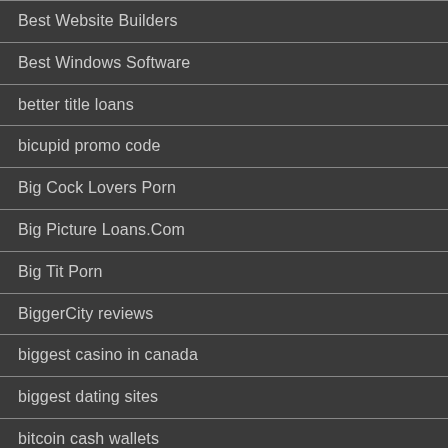Best Website Builders
Best Windows Software
better title loans
bicupid promo code
Big Cock Lovers Porn
Big Picture Loans.Com
Big Tit Porn
BiggerCity reviews
biggest casino in canada
biggest dating sites
bitcoin cash wallets